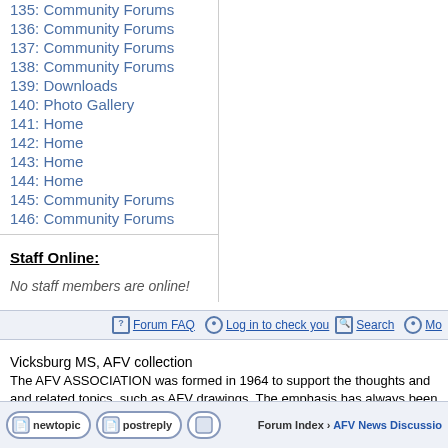135: Community Forums
136: Community Forums
137: Community Forums
138: Community Forums
139: Downloads
140: Photo Gallery
141: Home
142: Home
143: Home
144: Home
145: Community Forums
146: Community Forums
Staff Online:
No staff members are online!
Forum FAQ   Log in to check you   Search   Mo
Vicksburg MS, AFV collection
The AFV ASSOCIATION was formed in 1964 to support the thoughts and and related topics, such as AFV drawings. The emphasis has always been members of similar interests; e.g. German armor, Japanese AFVs, or wha
newtopic   postreply   Forum Index › AFV News Discussio